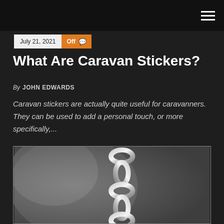July 21, 2021  Off
What Are Caravan Stickers?
By JOHN EDWARDS
Caravan stickers are actually quite useful for caravanners. They can be used to add a personal touch, or more specifically,...
[Figure (photo): Close-up black and white photograph of a metal chain with interlocking links against a blurred background.]